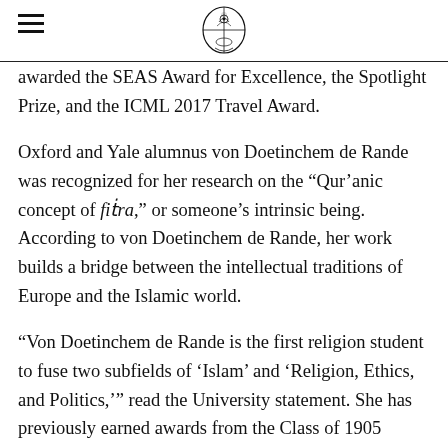[University logo and navigation]
awarded the SEAS Award for Excellence, the Spotlight Prize, and the ICML 2017 Travel Award.
Oxford and Yale alumnus von Doetinchem de Rande was recognized for her research on the “Qur’anic concept of fiṫra,” or someone’s intrinsic being. According to von Doetinchem de Rande, her work builds a bridge between the intellectual traditions of Europe and the Islamic world.
“Von Doetinchem de Rande is the first religion student to fuse two subfields of ‘Islam’ and ‘Religion, Ethics, and Politics,’” read the University statement. She has previously earned awards from the Class of 1905 Fellowship Fund, the Center for the Study of Religion, and the Department of Near Eastern Studies.
All of this year’s fellows will pursue careers in academia, the